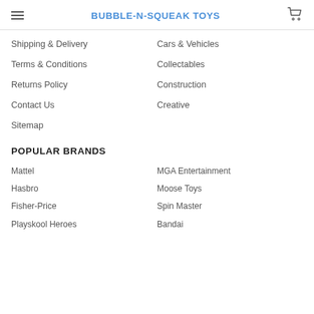BUBBLE-N-SQUEAK TOYS
Shipping & Delivery
Terms & Conditions
Returns Policy
Contact Us
Sitemap
Cars & Vehicles
Collectables
Construction
Creative
POPULAR BRANDS
Mattel
Hasbro
Fisher-Price
Playskool Heroes
MGA Entertainment
Moose Toys
Spin Master
Bandai